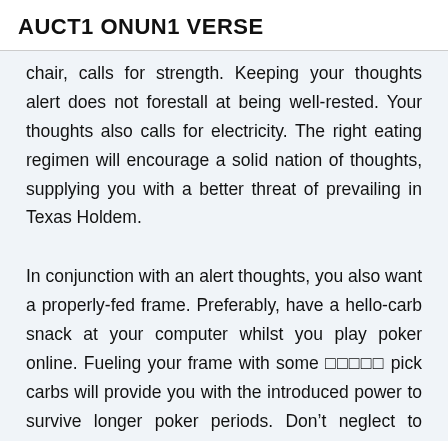AUCT1 ONUN1 VERSE
chair, calls for strength. Keeping your thoughts alert does not forestall at being well-rested. Your thoughts also calls for electricity. The right eating regimen will encourage a solid nation of thoughts, supplying you with a better threat of prevailing in Texas Holdem.
In conjunction with an alert thoughts, you also want a properly-fed frame. Preferably, have a hello-carb snack at your computer whilst you play poker online. Fueling your frame with some       pick carbs will provide you with the introduced power to survive longer poker periods. Don’t neglect to apply each of those poker suggestions on your subsequent on-line poker session. Mutually, every of the two easy online poker hints will help boost your poker game on-line